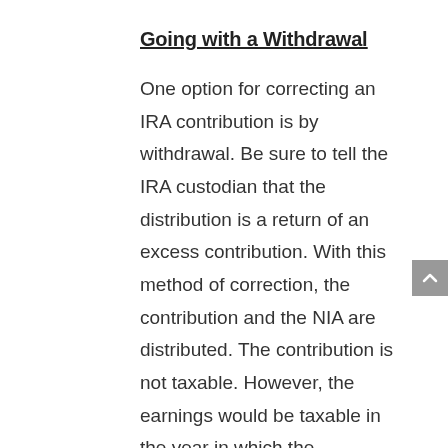Going with a Withdrawal
One option for correcting an IRA contribution is by withdrawal. Be sure to tell the IRA custodian that the distribution is a return of an excess contribution. With this method of correction, the contribution and the NIA are distributed. The contribution is not taxable. However, the earnings would be taxable in the year in which the contribution was made.